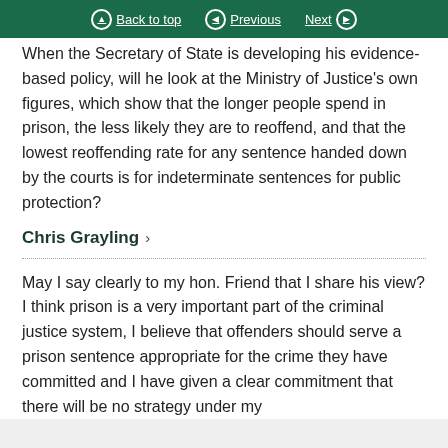Back to top | Previous | Next
When the Secretary of State is developing his evidence-based policy, will he look at the Ministry of Justice's own figures, which show that the longer people spend in prison, the less likely they are to reoffend, and that the lowest reoffending rate for any sentence handed down by the courts is for indeterminate sentences for public protection?
Chris Grayling
May I say clearly to my hon. Friend that I share his view? I think prison is a very important part of the criminal justice system, I believe that offenders should serve a prison sentence appropriate for the crime they have committed and I have given a clear commitment that there will be no strategy under my